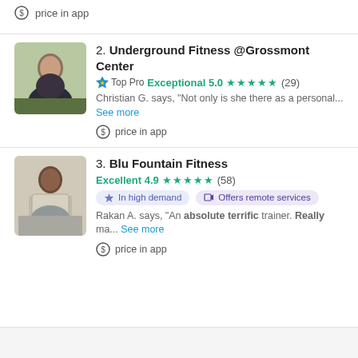price in app
2. Underground Fitness @Grossmont Center — Top Pro Exceptional 5.0 ★★★★★ (29) — Christian G. says, "Not only is she there as a personal... See more" — price in app
3. Blu Fountain Fitness — Excellent 4.9 ★★★★★ (58) — In high demand — Offers remote services — Rakan A. says, "An absolute terrific trainer. Really ma... See more" — price in app